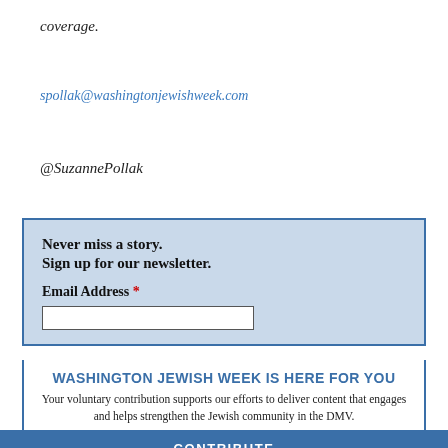coverage.
spollak@washingtonjewishweek.com
@SuzannePollak
Never miss a story.
Sign up for our newsletter.
Email Address *
WASHINGTON JEWISH WEEK IS HERE FOR YOU
Your voluntary contribution supports our efforts to deliver content that engages and helps strengthen the Jewish community in the DMV.
CONTRIBUTE